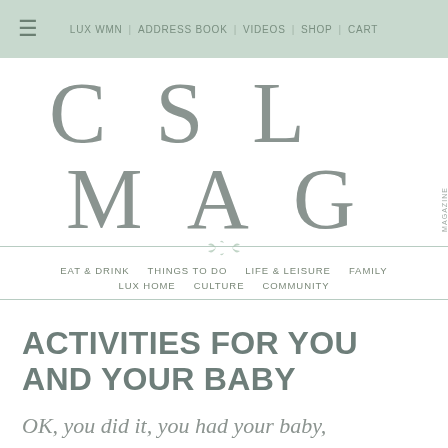≡  LUX WMN  |  ADDRESS BOOK  |  VIDEOS  |  SHOP  |  CART
[Figure (logo): CSL MAG MAGAZINE logo in large serif letters with 'MAGAZINE' written vertically on the right side]
EAT & DRINK   THINGS TO DO   LIFE & LEISURE   FAMILY   LUX HOME   CULTURE   COMMUNITY
ACTIVITIES FOR YOU AND YOUR BABY
OK, you did it, you had your baby,